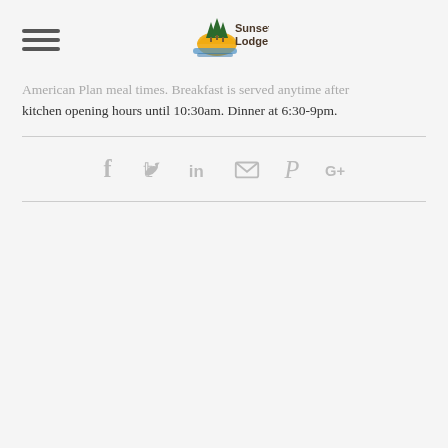[Figure (logo): Sunset Lodge logo with trees and sun graphic, text reads Sunset Lodge]
American Plan meal times. Breakfast is served anytime after kitchen opening hours until 10:30am. Dinner at 6:30-9pm.
[Figure (infographic): Social sharing icons: Facebook, Twitter, LinkedIn, Email, Pinterest, Google+]